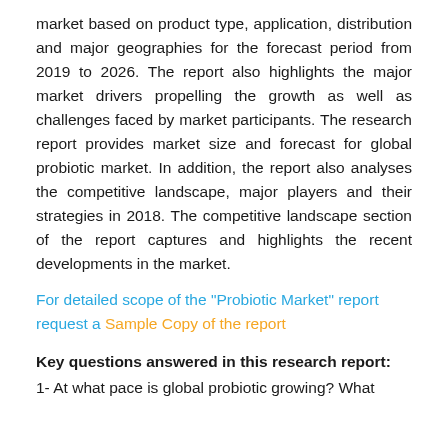market based on product type, application, distribution and major geographies for the forecast period from 2019 to 2026. The report also highlights the major market drivers propelling the growth as well as challenges faced by market participants. The research report provides market size and forecast for global probiotic market. In addition, the report also analyses the competitive landscape, major players and their strategies in 2018. The competitive landscape section of the report captures and highlights the recent developments in the market.
For detailed scope of the "Probiotic Market" report request a Sample Copy of the report
Key questions answered in this research report:
1- At what pace is global probiotic growing? What